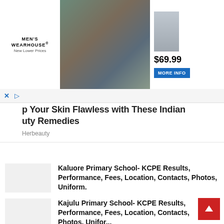[Figure (screenshot): Men's Wearhouse advertisement banner with couple in formalwear, small man in suit, $69.99 price and MORE INFO button]
p Your Skin Flawless with These Indian uty Remedies
Herbeauty
Kaluore Primary School- KCPE Results, Performance, Fees, Location, Contacts, Photos, Uniform.
Kajulu Primary School- KCPE Results, Performance, Fees, Location, Contacts, Photos, Uniform.